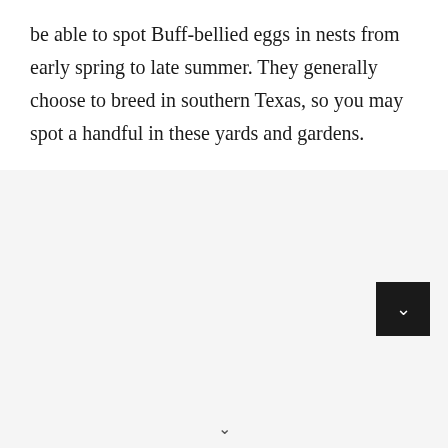be able to spot Buff-bellied eggs in nests from early spring to late summer. They generally choose to breed in southern Texas, so you may spot a handful in these yards and gardens.